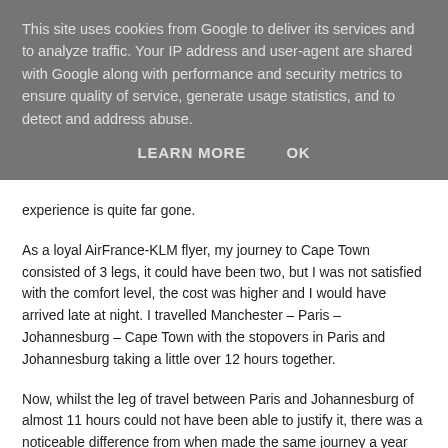This site uses cookies from Google to deliver its services and to analyze traffic. Your IP address and user-agent are shared with Google along with performance and security metrics to ensure quality of service, generate usage statistics, and to detect and address abuse.
LEARN MORE   OK
experience is quite far gone.
As a loyal AirFrance-KLM flyer, my journey to Cape Town consisted of 3 legs, it could have been two, but I was not satisfied with the comfort level, the cost was higher and I would have arrived late at night. I travelled Manchester – Paris – Johannesburg – Cape Town with the stopovers in Paris and Johannesburg taking a little over 12 hours together.
Now, whilst the leg of travel between Paris and Johannesburg of almost 11 hours could not have been able to justify it, there was a noticeable difference from when made the same journey a year ago. The flights within the two-hour duration were completely no-frills, all Covid-19 security and safety measures brought to bear. No trolley service, heck, they weren't even hawking their tatty duty-free goods.